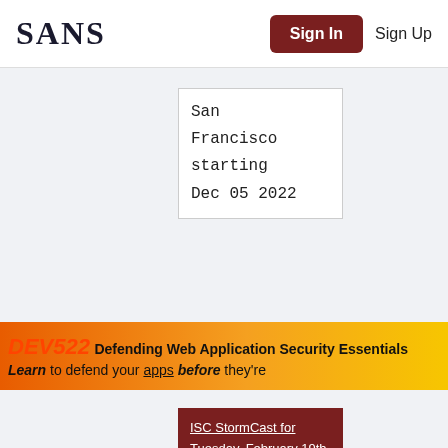SANS | Sign In | Sign Up
San Francisco starting Dec 05 2022
[Figure (infographic): DEV522 Defending Web Application Security Essentials banner ad. Text reads: Learn to defend your apps before they're...]
ISC StormCast for Tuesday, February 19th 2013 http://isc.sans.edu/podcastdetail.html?id=3133